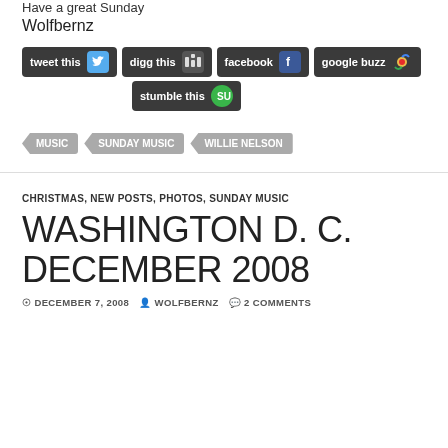Have a great Sunday
Wolfbernz
[Figure (screenshot): Social sharing buttons: tweet this, digg this, facebook, google buzz, stumble this]
MUSIC
SUNDAY MUSIC
WILLIE NELSON
CHRISTMAS, NEW POSTS, PHOTOS, SUNDAY MUSIC
WASHINGTON D. C. DECEMBER 2008
DECEMBER 7, 2008  WOLFBERNZ  2 COMMENTS